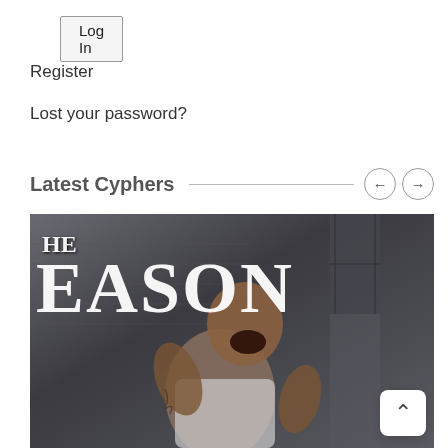Log In
Register
Lost your password?
Latest Cyphers
[Figure (photo): A composite image showing text 'HE EASON' in large serif white letters over a dark gritty brick wall background, with a shouting athlete/person in the foreground.]